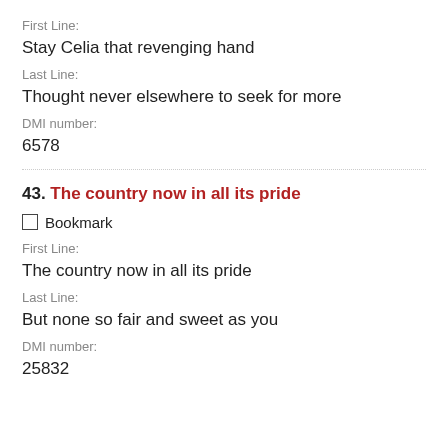First Line:
Stay Celia that revenging hand
Last Line:
Thought never elsewhere to seek for more
DMI number:
6578
43. The country now in all its pride
Bookmark
First Line:
The country now in all its pride
Last Line:
But none so fair and sweet as you
DMI number:
25832